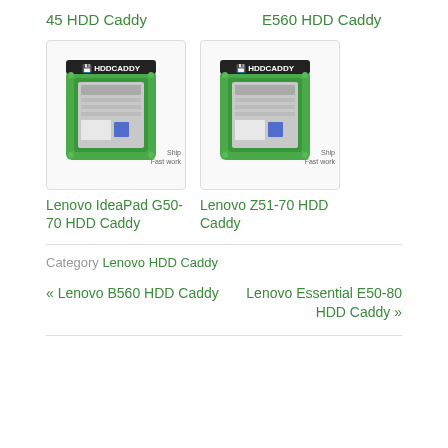45 HDD Caddy
E560 HDD Caddy
[Figure (photo): Green HDD Caddy product image with HDD Caddy logo, showing a hard drive in a green caddy enclosure. Text: Ship, Fast work]
Lenovo IdeaPad G50-70 HDD Caddy
[Figure (photo): Green HDD Caddy product image with HDD Caddy logo, showing a hard drive in a green caddy enclosure. Text: Ship, Fast work]
Lenovo Z51-70 HDD Caddy
Category Lenovo HDD Caddy
« Lenovo B560 HDD Caddy
Lenovo Essential E50-80 HDD Caddy »